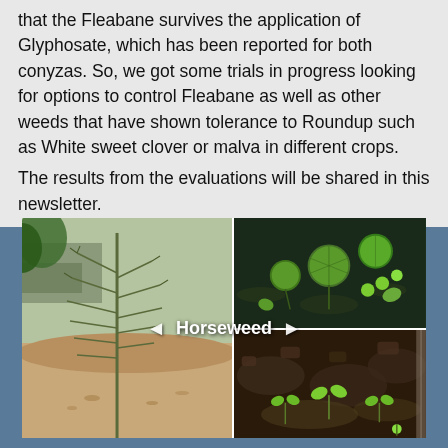that the Fleabane survives the application of Glyphosate, which has been reported for both conyzas. So, we got some trials in progress looking for options to control Fleabane as well as other weeds that have shown tolerance to Roundup such as White sweet clover or malva in different crops.
The results from the evaluations will be shared in this newsletter.
[Figure (photo): Photo collage of four plant/weed images arranged in a 2x2 grid. Left side shows a large horseweed (Fleabane) plant growing in sandy/dry soil near an irrigation channel. Top right shows a close-up of malva or similar weed with round green leaves on wet dark soil. Bottom right shows small seedlings emerging from dark moist soil. A label 'Horseweed' with left and right arrows appears in the center of the collage.]